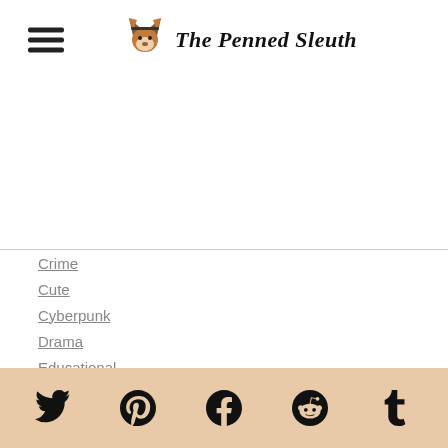The Penned Sleuth
Crime
Cute
Cyberpunk
Drama
Educational
Fantasy
Horror
Mystery
Non Fiction
Non-Fiction
People
Science Fiction
Side Characters
Spooky
Suspense
Thoughts
Social media icons: Twitter, Pinterest, Facebook, Reddit, Tumblr